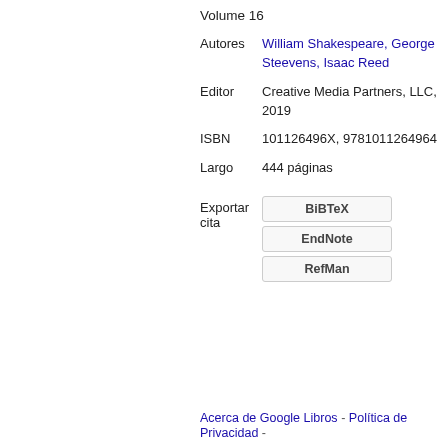Volume 16
| Field | Value |
| --- | --- |
| Autores | William Shakespeare, George Steevens, Isaac Reed |
| Editor | Creative Media Partners, LLC, 2019 |
| ISBN | 101126496X, 9781011264964 |
| Largo | 444 páginas |
Exportar cita
BiBTeX
EndNote
RefMan
Acerca de Google Libros - Política de Privacidad -